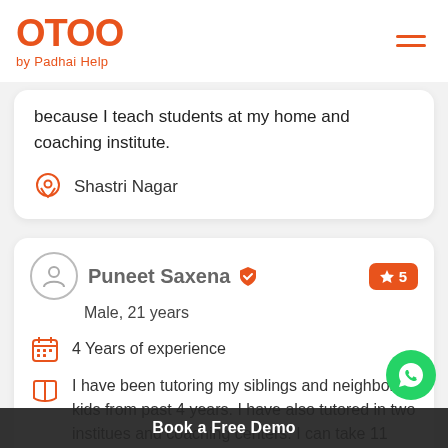[Figure (logo): OTOO by Padhai Help logo in orange]
because I teach students at my home and coaching institute.
Shastri Nagar
Puneet Saxena
Male, 21 years
4 Years of experience
I have been tutoring my siblings and neighbor's kids from past 4 years. I have also tutored in two institues and coaching centers. I can take 11 and
Book a Free Demo